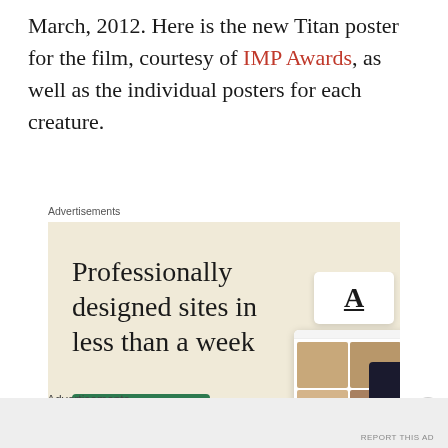March, 2012. Here is the new Titan poster for the film, courtesy of IMP Awards, as well as the individual posters for each creature.
Advertisements
[Figure (illustration): WordPress advertisement showing 'Professionally designed sites in less than a week' with an Explore options button, WordPress logo, and website preview mockups on a beige background.]
Advertisements
REPORT THIS AD